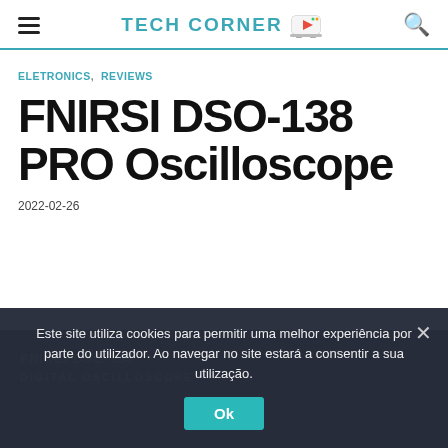TECH CORNER
ELETRONICS, REVIEWS
FNIRSI DSO-138 PRO Oscilloscope
2022-02-26
FNIRSI DSO-138 DIGITAL OSCILLOSCOPE
Este site utiliza cookies para permitir uma melhor experiência por parte do utilizador. Ao navegar no site estará a consentir a sua utilização.